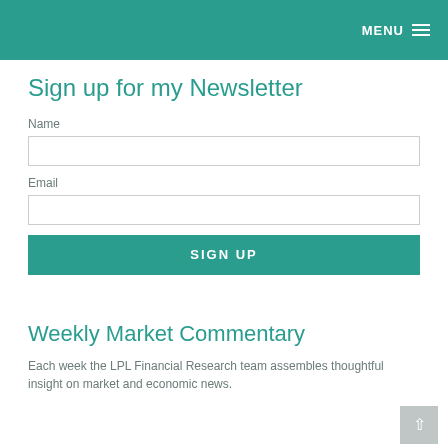MENU ☰
Sign up for my Newsletter
Name
Email
SIGN UP
Weekly Market Commentary
Each week the LPL Financial Research team assembles thoughtful insight on market and economic news.